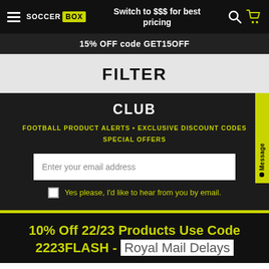SOCCER BOX — Switch to $$$ for best pricing
15% OFF code GET15OFF
FILTER
CLUB
FOOTBALL PRODUCT ALERTS • EXCLUSIVE DISCOUNT CODES SPECIAL OFFERS
Enter your email address
Yes please, I'd like to hear from you by email.
10% Off 22/23 Products Use Code 2223FLASH - Royal Mail Delays